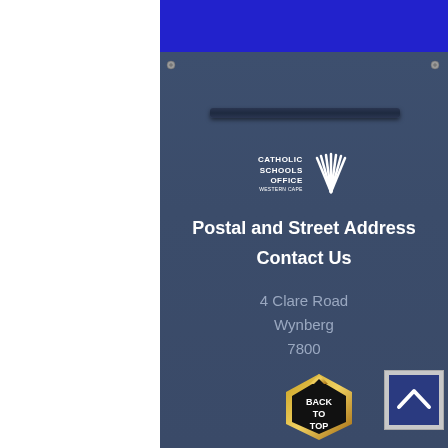[Figure (logo): Catholic Schools Office Western Cape logo with shell emblem]
Postal and Street Address
Contact Us
4 Clare Road
Wynberg
7800
[Figure (illustration): Back to Top button - black arrowhead shape with gold border, text BACK TO TOP]
[Figure (illustration): Scroll up chevron button - grey square with blue background and upward caret]